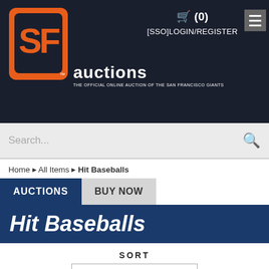SF Giants auctions - THE OFFICIAL ONLINE AUCTION OF THE SAN FRANCISCO GIANTS | Cart (0) | [SSO]LOGIN/REGISTER
Search...
Home ▶ All Items ▶ Hit Baseballs
AUCTIONS | BUY NOW
Hit Baseballs
SORT
Bid count: high → low
Current Filters:
Baseballs ✕